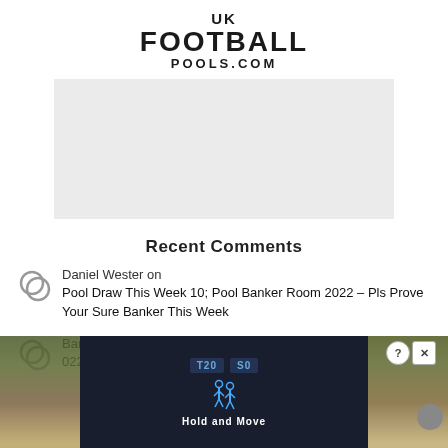UK FOOTBALL POOLS.COM
[Figure (other): Grey advertisement placeholder box]
Recent Comments
Daniel Wester on Pool Draw This Week 10; Pool Banker Room 2022 – Pls Prove Your Sure Banker This Week
Bancholes on [Pool Draw This Week 10; Pool Banker Room 2022 – Pls ...]
[Figure (other): Overlay advertisement banner with dark background, Hold and Move label, counter boxes showing T20 and S0, and human figure icon]